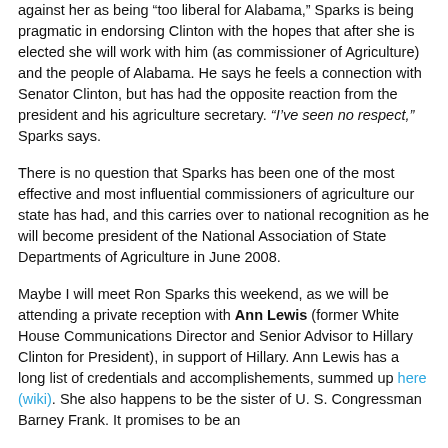against her as being "too liberal for Alabama," Sparks is being pragmatic in endorsing Clinton with the hopes that after she is elected she will work with him (as commissioner of Agriculture) and the people of Alabama. He says he feels a connection with Senator Clinton, but has had the opposite reaction from the president and his agriculture secretary. "I've seen no respect," Sparks says.
There is no question that Sparks has been one of the most effective and most influential commissioners of agriculture our state has had, and this carries over to national recognition as he will become president of the National Association of State Departments of Agriculture in June 2008.
Maybe I will meet Ron Sparks this weekend, as we will be attending a private reception with Ann Lewis (former White House Communications Director and Senior Advisor to Hillary Clinton for President), in support of Hillary. Ann Lewis has a long list of credentials and accomplishements, summed up here (wiki). She also happens to be the sister of U. S. Congressman Barney Frank. It promises to be an